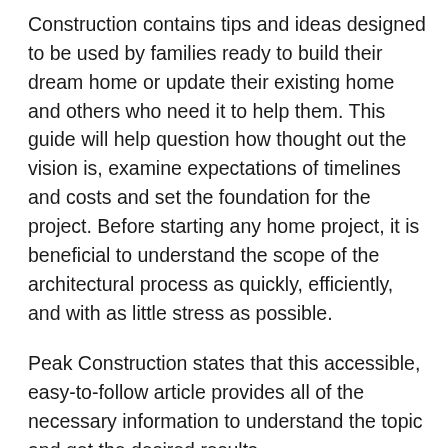Construction contains tips and ideas designed to be used by families ready to build their dream home or update their existing home and others who need it to help them. This guide will help question how thought out the vision is, examine expectations of timelines and costs and set the foundation for the project. Before starting any home project, it is beneficial to understand the scope of the architectural process as quickly, efficiently, and with as little stress as possible.
Peak Construction states that this accessible, easy-to-follow article provides all of the necessary information to understand the topic and get the desired results.